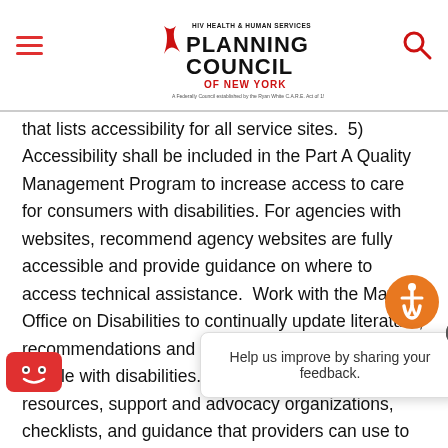HIV Health & Human Services Planning Council of New York
that lists accessibility for all service sites.  5) Accessibility shall be included in the Part A Quality Management Program to increase access to care for consumers with disabilities. For agencies with websites, recommend agency websites are fully accessible and provide guidance on where to access technical assistance.  Work with the Mayor's Office on Disabilities to continually update literature, recommendations and guidelines for working with people with disabilities.  6) Identify funding resources, support and advocacy organizations, checklists, and guidance that providers can use to ensure ADA compliance.  7) The Recipient will identify gaps in access for individual assistive technologies and provide plans for assistance (including RV such technologies, such as hearing aids, wheelchairs, etc. for those who need
[Figure (other): Accessibility icon button (wheelchair person in circle, orange background)]
[Figure (other): Feedback popup: Help us improve by sharing your feedback. with X close button]
[Figure (other): Red YouTube-style icon with smiley face]